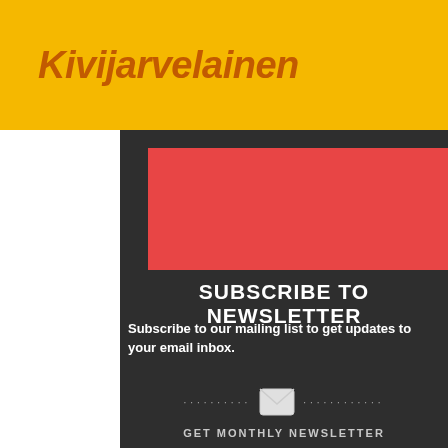Kivijarvelainen
[Figure (infographic): Red banner image area at top of newsletter subscription section]
SUBSCRIBE TO NEWSLETTER
Subscribe to our mailing list to get updates to your email inbox.
[Figure (infographic): Envelope icon with dotted divider lines and GET MONTHLY NEWSLETTER label]
GET MONTHLY NEWSLETTER
First Name
Last Name